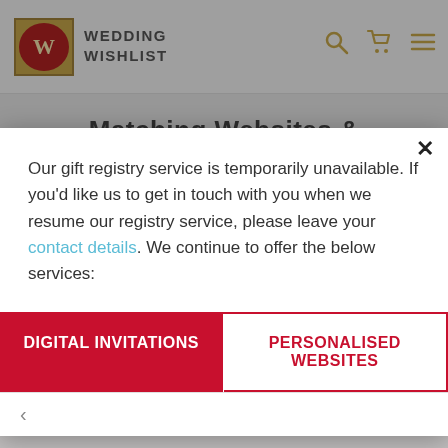WEDDING WISHLIST
Matching Websites &
Our gift registry service is temporarily unavailable. If you'd like us to get in touch with you when we resume our registry service, please leave your contact details. We continue to offer the below services:
DIGITAL INVITATIONS
PERSONALISED WEBSITES
[Figure (screenshot): Laptop and phone showing wedding website interface with couple photo and floral design]